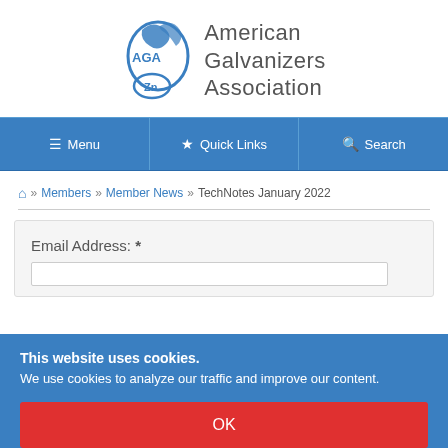[Figure (logo): American Galvanizers Association logo with AGA text and Zn symbol in blue, alongside text 'American Galvanizers Association']
Menu | Quick Links | Search
Home » Members » Member News » TechNotes January 2022
Email Address: *
This website uses cookies. We use cookies to analyze our traffic and improve our content.
OK